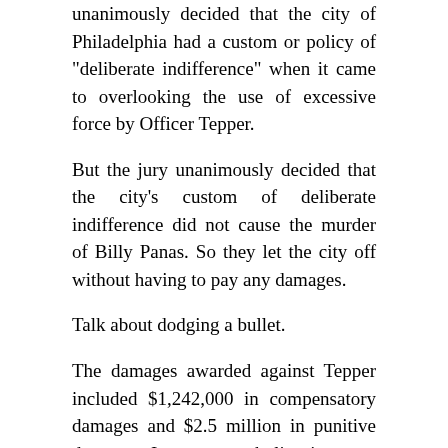unanimously decided that the city of Philadelphia had a custom or policy of "deliberate indifference" when it came to overlooking the use of excessive force by Officer Tepper.
But the jury unanimously decided that the city's custom of deliberate indifference did not cause the murder of Billy Panas. So they let the city off without having to pay any damages.
Talk about dodging a bullet.
The damages awarded against Tepper included $1,242,000 in compensatory damages and $2.5 million in punitive damages. It was a symbolic victory at best, as the former cop now doing life probably doesn't have $4.7 million stashed in his jail cell.
"Whatever we can do for the Panas family we will do," said James J. Binns, the plaintiffs's lawyer.
Binns said he hoped that Tepper had a police pension he